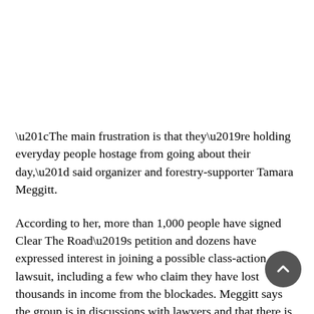“The main frustration is that they’re holding everyday people hostage from going about their day,” said organizer and forestry-supporter Tamara Meggitt.
According to her, more than 1,000 people have signed Clear The Road’s petition and dozens have expressed interest in joining a possible class-action lawsuit, including a few who claim they have lost thousands in income from the blockades. Meggitt says the group is in discussions with lawyers and that there is a “high, high likelihood” that efforts